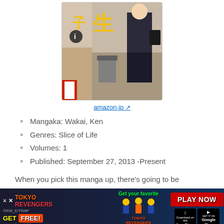[Figure (illustration): Manga cover art showing a female high school student in uniform with a bag, walking in an alley, with yellow Japanese text overlay]
amazon.jp ↗
Mangaka: Wakai, Ken
Genres: Slice of Life
Volumes: 1
Published: September 27, 2013 -Present
When you pick this manga up, there's going to be
[Figure (photo): Tokyo Revengers game advertisement banner with 'PLAY NOW', App Store and Google Play buttons]
✓Read More